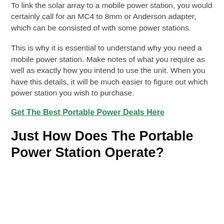To link the solar array to a mobile power station, you would certainly call for an MC4 to 8mm or Anderson adapter, which can be consisted of with some power stations.
This is why it is essential to understand why you need a mobile power station. Make notes of what you require as well as exactly how you intend to use the unit. When you have this details, it will be much easier to figure out which power station you wish to purchase.
Get The Best Portable Power Deals Here
Just How Does The Portable Power Station Operate?